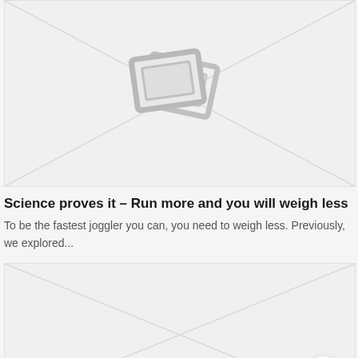[Figure (illustration): Gray image placeholder with two overlapping rotated rectangle frames icon in the center, diagonal lines from corners]
Science proves it – Run more and you will weigh less
To be the fastest joggler you can, you need to weigh less. Previously, we explored...
[Figure (illustration): Second gray image placeholder with diagonal lines from corners, partially visible, scroll-to-top button in bottom right]